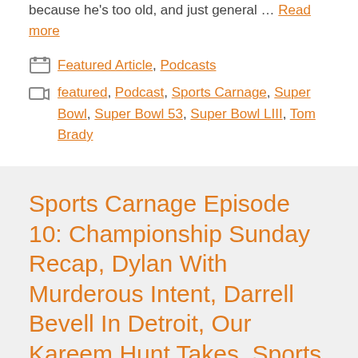because he's too old, and just general … Read more
Categories: Featured Article, Podcasts
Tags: featured, Podcast, Sports Carnage, Super Bowl, Super Bowl 53, Super Bowl LIII, Tom Brady
Sports Carnage Episode 10: Championship Sunday Recap, Dylan With Murderous Intent, Darrell Bevell In Detroit, Our Kareem Hunt Takes, Sports